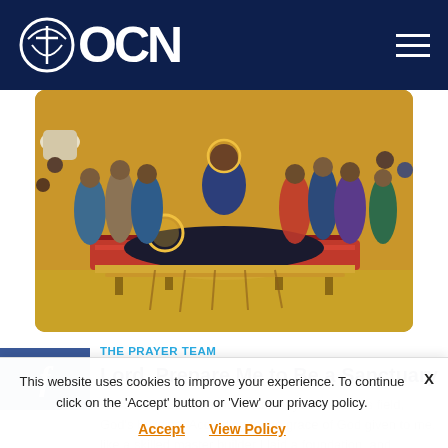OCN
[Figure (photo): Orthodox Christian icon depicting the Dormition of the Theotokos (Virgin Mary), showing Mary lying on a bier surrounded by apostles and saints, with Christ holding her soul depicted as an infant, gold background, Byzantine icon style.]
THE PRAYER TEAM
Lord, Prepare Me to Be a Sanctuary
For we are God's fellow workers; you are God's field, God's building. According to the grace of God given to me, like a skilled master builder I laid a foundation, and another man
This website uses cookies to improve your experience. To continue click on the 'Accept' button or 'View' our privacy policy.
Accept   View Policy